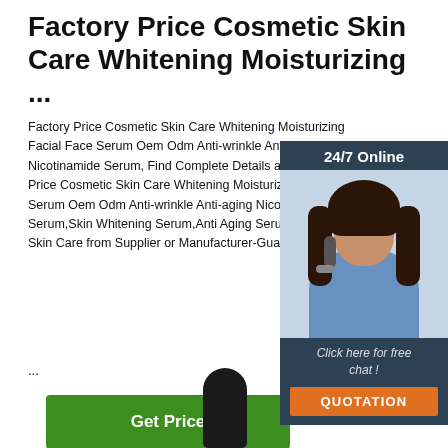Factory Price Cosmetic Skin Care Whitening Moisturizing ...
Factory Price Cosmetic Skin Care Whitening Moisturizing Facial Face Serum Oem Odm Anti-wrinkle Anti-aging Nicotinamide Serum, Find Complete Details about Factory Price Cosmetic Skin Care Whitening Moisturizing Facial Face Serum Oem Odm Anti-wrinkle Anti-aging Nicotinamide Serum,Skin Whitening Serum,Anti Aging Serum, Skin Care from Supplier or Manufacturer-Guang...
...
[Figure (other): Green button labeled 'Get Price']
[Figure (infographic): 24/7 Online chat widget with a photo of a customer service representative wearing a headset, text 'Click here for free chat!' and an orange QUOTATION button]
[Figure (logo): Orange TOP logo with dots above in bottom right corner]
[Figure (photo): Black dropper/serum bottle cap visible at bottom center of page]